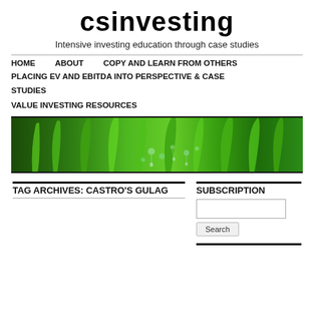csinvesting
Intensive investing education through case studies
HOME
ABOUT
COPY AND LEARN FROM OTHERS
PLACING EV AND EBITDA INTO PERSPECTIVE & CASE STUDIES
VALUE INVESTING RESOURCES
[Figure (photo): Close-up photo of green grass blades with water droplets]
TAG ARCHIVES: CASTRO'S GULAG
SUBSCRIPTION
Search